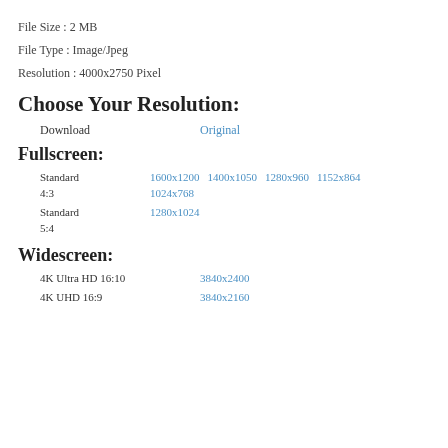File Size : 2 MB
File Type : Image/Jpeg
Resolution : 4000x2750 Pixel
Choose Your Resolution:
Download    Original
Fullscreen:
Standard 4:3    1600x1200  1400x1050  1280x960  1152x864  1024x768
Standard 5:4    1280x1024
Widescreen:
4K Ultra HD 16:10    3840x2400
4K UHD 16:9    3840x2160